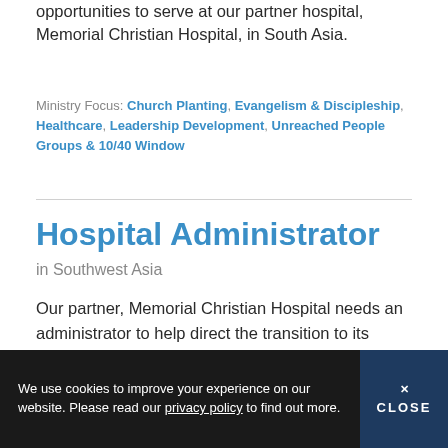opportunities to serve at our partner hospital, Memorial Christian Hospital, in South Asia.
Ministry Focus: Church Planting, Evangelism & Discipleship, Healthcare, Leadership Development, Unreached People Groups & 10/40 Window
Hospital Administrator
in Southwest Asia
Our partner, Memorial Christian Hospital needs an administrator to help direct the transition to its large, new facility and an expanded outreach to the many unreached people groups living in our beautiful corner of South Asia.
We use cookies to improve your experience on our website. Please read our privacy policy to find out more.